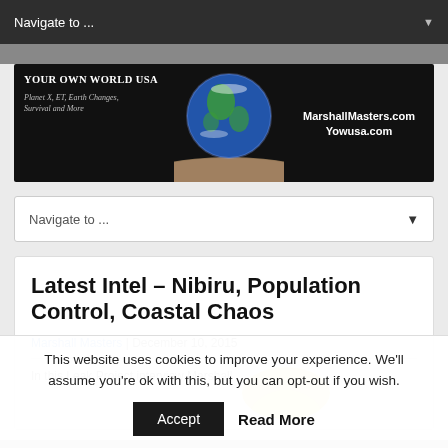Navigate to ...
[Figure (illustration): Your Own World USA banner with Earth rising over lunar surface. Text: 'Your Own World USA', 'Planet X, ET, Earth Changes, Survival and More', 'MarshallMasters.com', 'Yowusa.com']
Navigate to ...
Latest Intel – Nibiru, Population Control, Coastal Chaos
Marshall Masters | December 10, 2015
In this Leak Project interview Marshall
This website uses cookies to improve your experience. We'll assume you're ok with this, but you can opt-out if you wish.
Accept  Read More